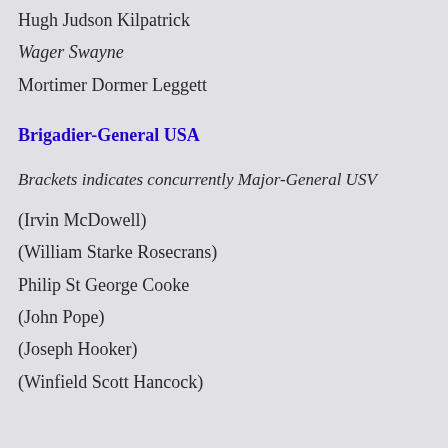Hugh Judson Kilpatrick
Wager Swayne
Mortimer Dormer Leggett
Brigadier-General USA
Brackets indicates concurrently Major-General USV
(Irvin McDowell)
(William Starke Rosecrans)
Philip St George Cooke
(John Pope)
(Joseph Hooker)
(Winfield Scott Hancock)